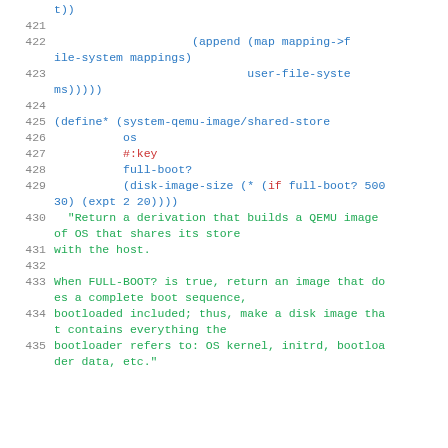Code listing lines 421-435 showing Scheme/Guile source code for system-qemu-image/shared-store function
421  (empty line)
422          (append (map mapping->file-system mappings)
423                          user-file-systems)))))
424  (empty line)
425  (define* (system-qemu-image/shared-store
426              os
427              #:key
428              full-boot?
429              (disk-image-size (* (if full-boot? 500 30) (expt 2 20))))
430    "Return a derivation that builds a QEMU image of OS that shares its store
431    with the host.
432  (empty line)
433    When FULL-BOOT? is true, return an image that does a complete boot sequence,
434    bootloaded included; thus, make a disk image that contains everything the
435    bootloader refers to: OS kernel, initrd, bootloader data, etc."